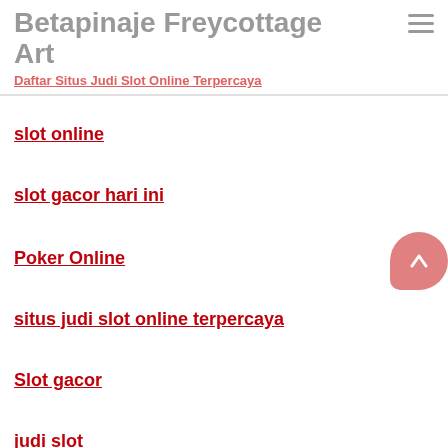Betapinaje Freycottage Art
Daftar Situs Judi Slot Online Terpercaya
slot online
slot gacor hari ini
Poker Online
situs judi slot online terpercaya
Slot gacor
judi slot